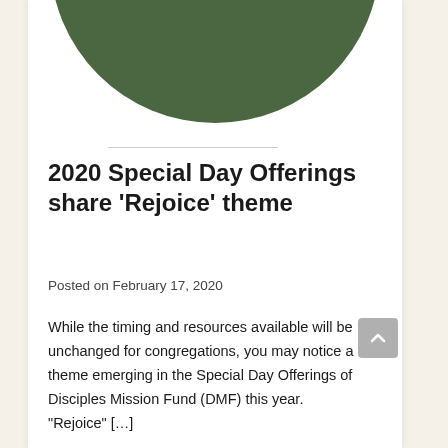[Figure (illustration): Partial view of a dark green circular illustration, likely a logo or decorative image, showing the bottom half of a circle with leaf or hand motif against white background]
2020 Special Day Offerings share ‘Rejoice’ theme
Posted on February 17, 2020
While the timing and resources available will be unchanged for congregations, you may notice a theme emerging in the Special Day Offerings of Disciples Mission Fund (DMF) this year. “Rejoice” […]